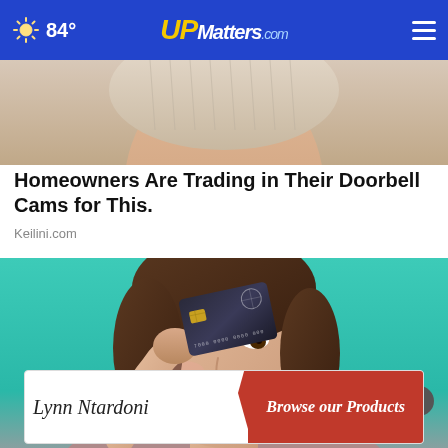84° UPMatters.com
[Figure (photo): Cropped top portion of a person's face and knit hat, warm skin tones]
Homeowners Are Trading in Their Doorbell Cams for This.
Keilini.com
[Figure (photo): Young woman with short brown hair holding a dark credit card in front of her eye, teal background, making a playful expression]
[Figure (other): Advertisement banner: Lynn Ntardoni script signature on left, red button reading 'Browse our Products' on right with yellow accent stripe]